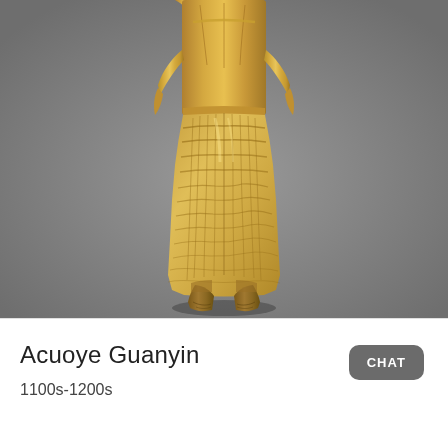[Figure (photo): Close-up photograph of a gilded bronze Buddhist statue (Acuoye Guanyin), showing the torso, robes, and bare feet of the figure. The statue is gold in color with detailed draped robes and stands against a grey background.]
Acuoye Guanyin
1100s-1200s